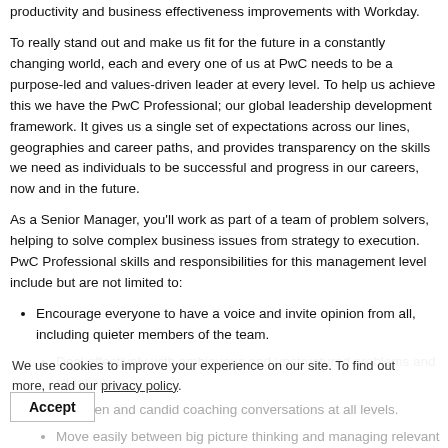productivity and business effectiveness improvements with Workday.
To really stand out and make us fit for the future in a constantly changing world, each and every one of us at PwC needs to be a purpose-led and values-driven leader at every level. To help us achieve this we have the PwC Professional; our global leadership development framework. It gives us a single set of expectations across our lines, geographies and career paths, and provides transparency on the skills we need as individuals to be successful and progress in our careers, now and in the future.
As a Senior Manager, you'll work as part of a team of problem solvers, helping to solve complex business issues from strategy to execution. PwC Professional skills and responsibilities for this management level include but are not limited to:
Encourage everyone to have a voice and invite opinion from all, including quieter members of the team.
Deal effectively with ambiguous and unstructured problems and situations.
Initiate open and candid coaching conversations at all levels.
Move easily between big picture thinking and managing relevant detail.
We use cookies to improve your experience on our site. To find out more, read our privacy policy.
Accept